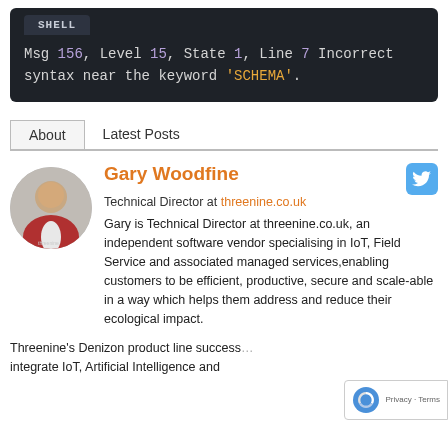[Figure (screenshot): Shell terminal block showing error: Msg 156, Level 15, State 1, Line 7 Incorrect syntax near the keyword 'SCHEMA'.]
About   Latest Posts
[Figure (photo): Circular avatar photo of Gary Woodfine]
Gary Woodfine
Technical Director at threenine.co.uk
Gary is Technical Director at threenine.co.uk, an independent software vendor specialising in IoT, Field Service and associated managed services,enabling customers to be efficient, productive, secure and scale-able in a way which helps them address and reduce their ecological impact.
Threenine's Denizon product line success... integrate IoT, Artificial Intelligence and